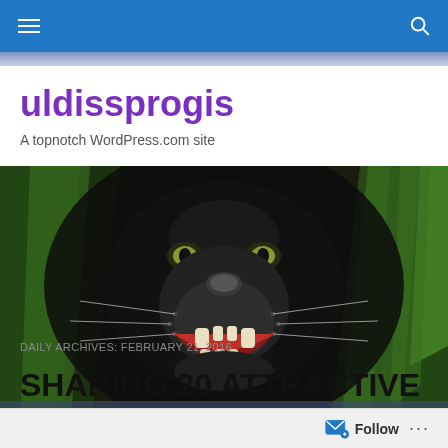Navigation bar with hamburger menu and search icon
uldissprogis
A topnotch WordPress.com site
[Figure (photo): Close-up photo of a black panther/jaguar snarling with mouth open, showing teeth and whiskers, surrounded by green foliage]
DAILY ARCHIVES: FEBRUARY 21, 2016
SHARING 20 ATTRACTIVE
Follow ...